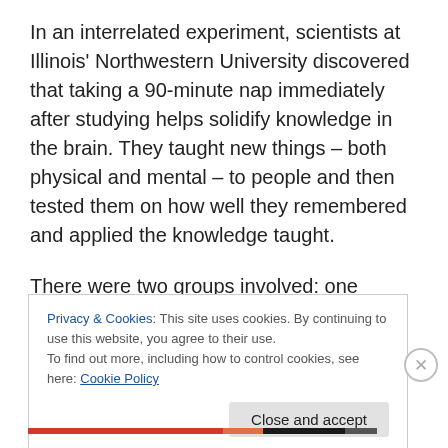In an interrelated experiment, scientists at Illinois' Northwestern University discovered that taking a 90-minute nap immediately after studying helps solidify knowledge in the brain. They taught new things – both physical and mental – to people and then tested them on how well they remembered and applied the knowledge taught.
There were two groups involved: one whose members slept after learning and one whose members stayed
Privacy & Cookies: This site uses cookies. By continuing to use this website, you agree to their use.
To find out more, including how to control cookies, see here: Cookie Policy